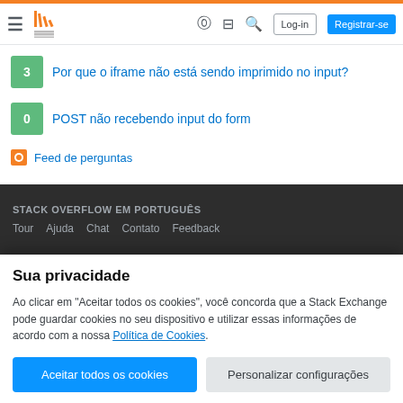Stack Overflow em Português — Log-in / Registrar-se
3 — Por que o iframe não está sendo imprimido no input?
0 — POST não recebendo input do form
Feed de perguntas
STACK OVERFLOW EM PORTUGUÊS
Tour   Ajuda   Chat   Contato   Feedback
EMPRESA
Stack Overflow   Teams   Advertising   Collectives   Talent   Sobre   Imprensa
Sua privacidade
Ao clicar em "Aceitar todos os cookies", você concorda que a Stack Exchange pode guardar cookies no seu dispositivo e utilizar essas informações de acordo com a nossa Política de Cookies.
Aceitar todos os cookies   Personalizar configurações